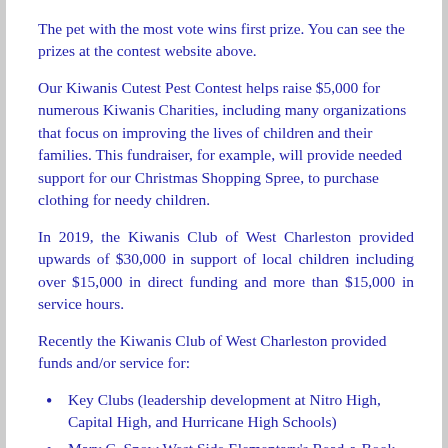The pet with the most vote wins first prize.  You can see the prizes at the contest website above.
Our Kiwanis Cutest Pest Contest helps raise  $5,000 for numerous Kiwanis Charities, including many organizations that focus on improving the lives of children and their families. This fundraiser, for example, will provide needed support for our Christmas Shopping Spree, to purchase clothing for needy children.
In 2019, the Kiwanis Club of West Charleston provided upwards of $30,000 in support of local children including over $15,000 in direct funding and more than $15,000 in service hours.
Recently the Kiwanis Club of West Charleston provided funds and/or service for:
Key Clubs (leadership development at Nitro High, Capital High, and Hurricane High Schools)
Mary C. Snow West Side Elementary's Read-a-Book program
Clothing shopping spree,  outfitting 50 children annually